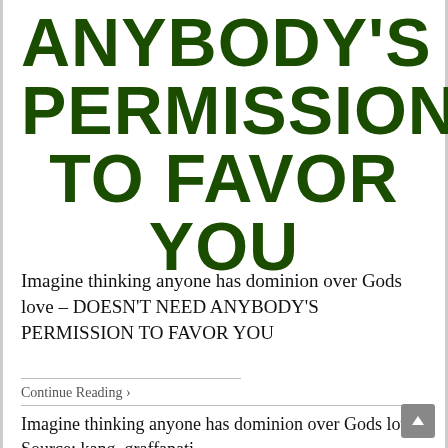ANYBODY'S PERMISSION TO FAVOR YOU
Imagine thinking anyone has dominion over Gods love – DOESN'T NEED ANYBODY'S PERMISSION TO FAVOR YOU
Continue Reading ›
Imagine thinking anyone has dominion over Gods love Source: kang_graffanati